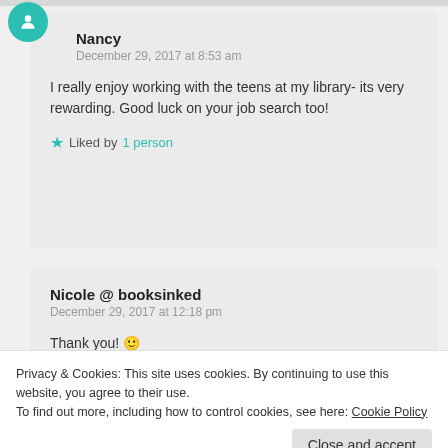Nancy
December 29, 2017 at 8:53 am
I really enjoy working with the teens at my library- its very rewarding. Good luck on your job search too!
Liked by 1 person
Nicole @ booksinked
December 29, 2017 at 12:18 pm
Thank you! 🙂
Privacy & Cookies: This site uses cookies. By continuing to use this website, you agree to their use.
To find out more, including how to control cookies, see here: Cookie Policy
Close and accept
December 28, 2017 at 5:05 pm